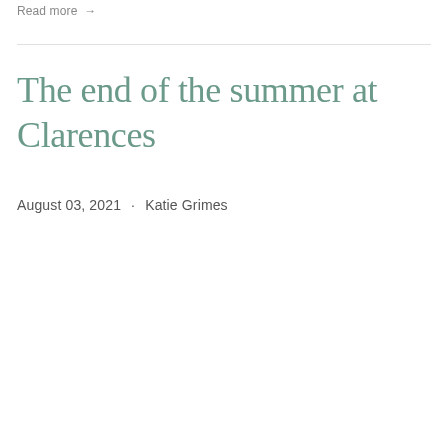Read more →
The end of the summer at Clarences
August 03, 2021 · Katie Grimes